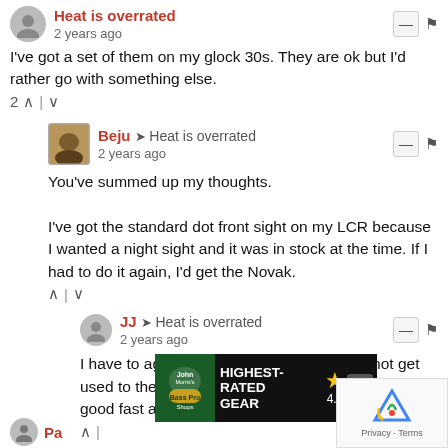Heat is overrated · 2 years ago
I've got a set of them on my glock 30s. They are ok but I'd rather go with something else.
2 ↑ | ↓
Beju → Heat is overrated · 2 years ago
You've summed up my thoughts.

I've got the standard dot front sight on my LCR because I wanted a night sight and it was in stock at the time. If I had to do it again, I'd get the Novak.
↑ | ↓
JJ → Heat is overrated · 2 years ago
I have to agree. Love the quality but could not get used to them on my G45. Had a hard time getting a good fast acquisition.
[Figure (infographic): Bass Pro Shops advertisement banner: HIGHEST-RATED GEAR, rating 4.9 stars]
[Figure (other): Google reCAPTCHA logo with Privacy · Terms text]
Pa...